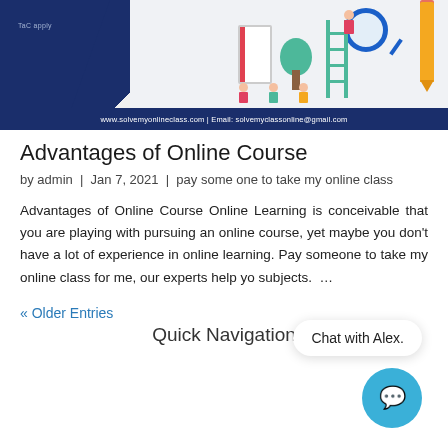[Figure (illustration): Website banner for solvemyonlineclass.com showing educational illustration with ladder, magnifier, pencil, tree, book, and children figures on light gray background, with dark blue shape on left and dark blue footer bar showing website URL and email.]
Advantages of Online Course
by admin | Jan 7, 2021 | pay some one to take my online class
Advantages of Online Course Online Learning is conceivable that you are playing with pursuing an online course, yet maybe you don't have a lot of experience in online learning. Pay someone to take my online class for me, our experts help yo subjects.  …
« Older Entries
Quick Navigation